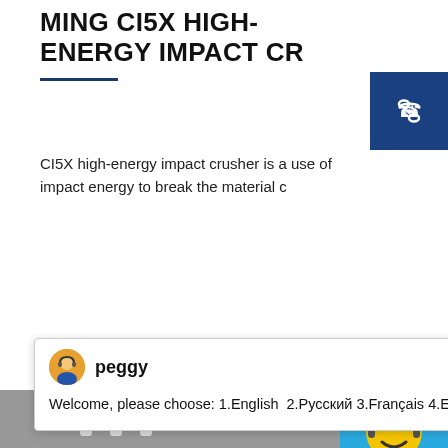MING CI5X HIGH-ENERGY IMPACT CR
CI5X high-energy impact crusher is a use of impact energy to break the material c
[Figure (screenshot): Blue square icon with a white telephone/handset icon inside]
[Figure (screenshot): Chat popup overlay with avatar labeled 'peggy' and message: Welcome, please choose: 1.English 2.Русский 3.Français 4.Español 5.bahasa Indonesia 6.عربى. Close X button top right.]
[Figure (photo): Industrial impact crusher machinery photograph, showing circular crusher components with red ring detail, grey metal parts, in grayscale/color industrial setting]
[Figure (screenshot): Right sidebar with chat widget showing smiley face with headset, cyan/blue background, '1' badge notification, 'Click me to chat >>' button]
Enquiry
cywaitml @gmail.com